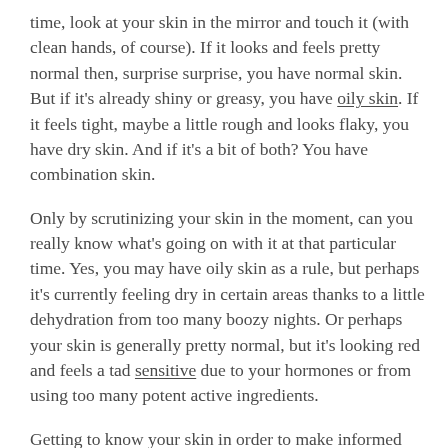time, look at your skin in the mirror and touch it (with clean hands, of course). If it looks and feels pretty normal then, surprise surprise, you have normal skin. But if it's already shiny or greasy, you have oily skin. If it feels tight, maybe a little rough and looks flaky, you have dry skin. And if it's a bit of both? You have combination skin.
Only by scrutinizing your skin in the moment, can you really know what's going on with it at that particular time. Yes, you may have oily skin as a rule, but perhaps it's currently feeling dry in certain areas thanks to a little dehydration from too many boozy nights. Or perhaps your skin is generally pretty normal, but it's looking red and feels a tad sensitive due to your hormones or from using too many potent active ingredients.
Getting to know your skin in order to make informed tweaks to your lifestyle and skincare routine? Priceless.